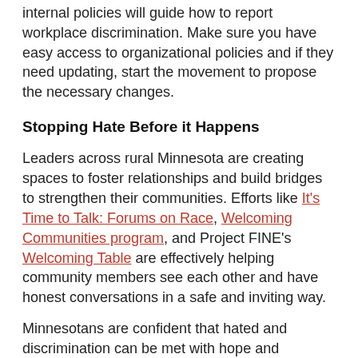internal policies will guide how to report workplace discrimination. Make sure you have easy access to organizational policies and if they need updating, start the movement to propose the necessary changes.
Stopping Hate Before it Happens
Leaders across rural Minnesota are creating spaces to foster relationships and build bridges to strengthen their communities. Efforts like It's Time to Talk: Forums on Race, Welcoming Communities program, and Project FINE's Welcoming Table are effectively helping community members see each other and have honest conversations in a safe and inviting way.
Minnesotans are confident that hated and discrimination can be met with hope and leadership. Rural Pulse shows this. It's up to us to be prepared, to stand up, and use our skills to build healthy communities that work for all.